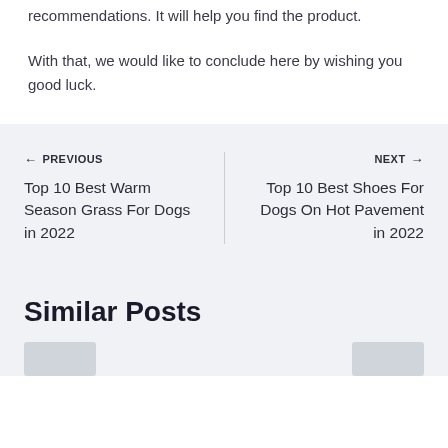recommendations. It will help you find the product.
With that, we would like to conclude here by wishing you good luck.
← PREVIOUS
Top 10 Best Warm Season Grass For Dogs in 2022
NEXT →
Top 10 Best Shoes For Dogs On Hot Pavement in 2022
Similar Posts